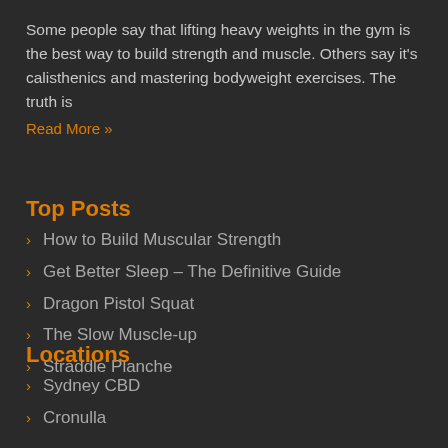Some people say that lifting heavy weights in the gym is the best way to build strength and muscle. Others say it's calisthenics and mastering bodyweight exercises. The truth is
Read More »
Top Posts
How to Build Muscular Strength
Get Better Sleep – The Definitive Guide
Dragon Pistol Squat
The Slow Muscle-up
Straddle Planche
Locations
Sydney CBD
Cronulla